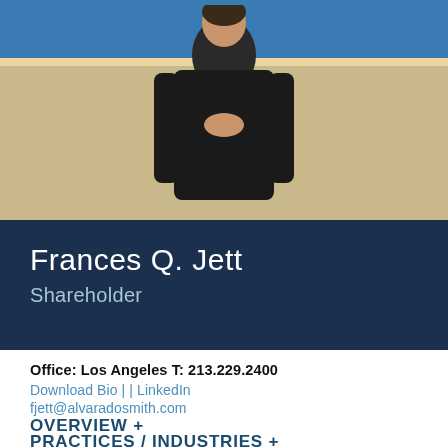[Figure (photo): Professional photo of Frances Q. Jett standing against a blue and tan/beige wall background, wearing dark clothing]
Frances Q. Jett
Shareholder
Office: Los Angeles T: 213.229.2400
Download Bio | | LinkedIn
fjett@alvaradosmith.com
OVERVIEW +
PRACTICES / INDUSTRIES +
MEMBERSHIPS +